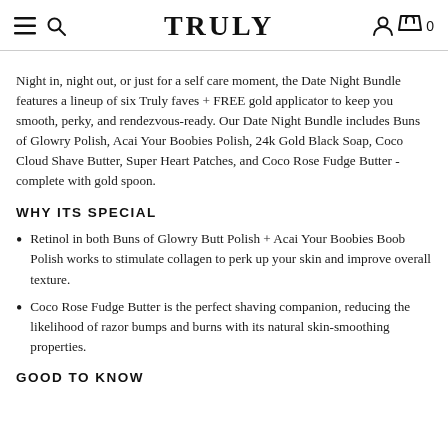TRULY
Night in, night out, or just for a self care moment, the Date Night Bundle features a lineup of six Truly faves + FREE gold applicator to keep you smooth, perky, and rendezvous-ready. Our Date Night Bundle includes Buns of Glowry Polish, Acai Your Boobies Polish, 24k Gold Black Soap, Coco Cloud Shave Butter, Super Heart Patches, and Coco Rose Fudge Butter - complete with gold spoon.
WHY ITS SPECIAL
Retinol in both Buns of Glowry Butt Polish + Acai Your Boobies Boob Polish works to stimulate collagen to perk up your skin and improve overall texture.
Coco Rose Fudge Butter is the perfect shaving companion, reducing the likelihood of razor bumps and burns with its natural skin-smoothing properties.
GOOD TO KNOW